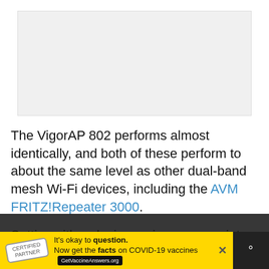[Figure (photo): Image placeholder area at top of page]
The VigorAP 802 performs almost identically, and both of these perform to about the same level as other dual-band mesh Wi-Fi devices, including the AVM FRITZ!Repeater 3000.
Setting either device up in access point mode predictably changes the performance considerably, allowing each access point to perform to its
[Figure (infographic): Advertisement bar: It's okay to question. Now get the facts on COVID-19 vaccines. GetVaccineAnswers.org]